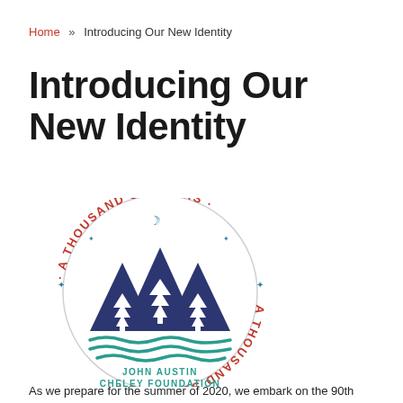Home » Introducing Our New Identity
Introducing Our New Identity
[Figure (logo): Circular logo for 'A Thousand Summers · A Thousand Summers' with mountain peaks, pine trees, and wavy water in navy blue and teal, with red circular text. Below reads 'JOHN AUSTIN CHELEY FOUNDATION' in teal.]
As we prepare for the summer of 2020, we embark on the 90th